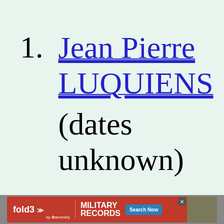1. Jean Pierre LUQUIENS (dates unknown)
[Figure (other): fold3 by Ancestry — Military Records advertisement banner with Search Now button and a soldier photo]